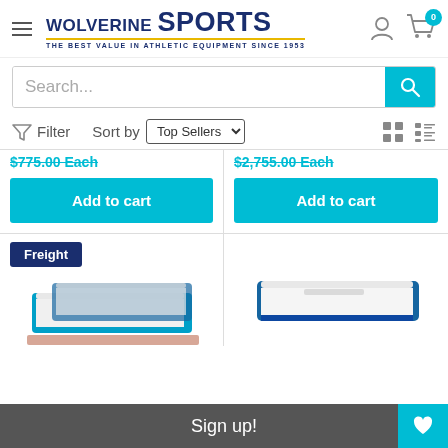[Figure (logo): Wolverine Sports logo with hamburger menu icon, user icon, and cart icon with badge showing 0]
[Figure (screenshot): Search bar with 'Search...' placeholder and teal search button]
Filter   Sort by  Top Sellers
$775.00 Each
$2,755.00 Each
Add to cart
Add to cart
Freight
[Figure (photo): Blue and white gymnastics mat product image on left]
[Figure (photo): Blue gymnastics landing mat product image on right]
Sign up!